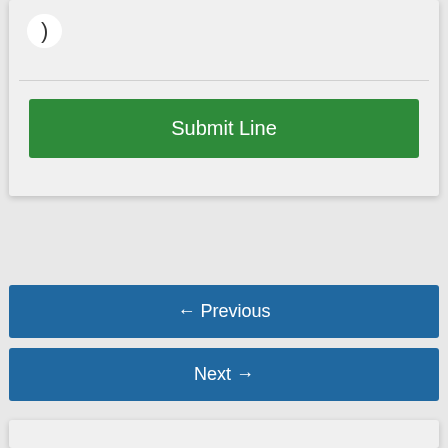)
Submit Line
← Previous
Next →